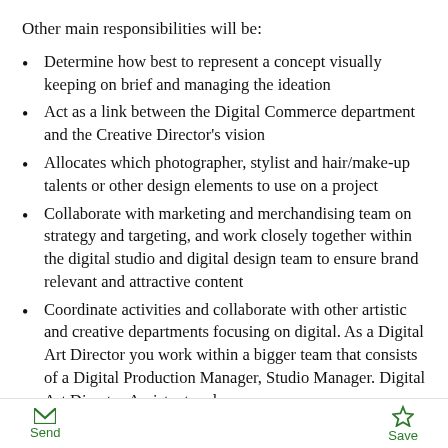Other main responsibilities will be:
Determine how best to represent a concept visually keeping on brief and managing the ideation
Act as a link between the Digital Commerce department and the Creative Director's vision
Allocates which photographer, stylist and hair/make-up talents or other design elements to use on a project
Collaborate with marketing and merchandising team on strategy and targeting, and work closely together within the digital studio and digital design team to ensure brand relevant and attractive content
Coordinate activities and collaborate with other artistic and creative departments focusing on digital. As a Digital Art Director you work within a bigger team that consists of a Digital Production Manager, Studio Manager. Digital Art Director Assistant and a
Send  Save